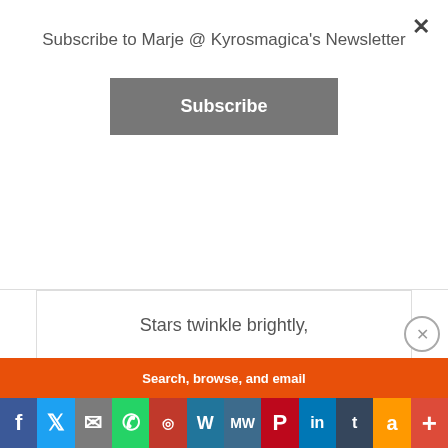Subscribe to Marje @ Kyrosmagica's Newsletter
Subscribe
Stars twinkle brightly,
Magical fireworks explode,
When I'm near to you.

Stars padlocked our love,
In magical Tavira,
Advertisements
Search, browse, and email
[Figure (screenshot): Social media share buttons bar: Facebook, Twitter, Email, WhatsApp, Print, WordPress, MeWe, Pinterest, LinkedIn, Tumblr, Amazon, More]